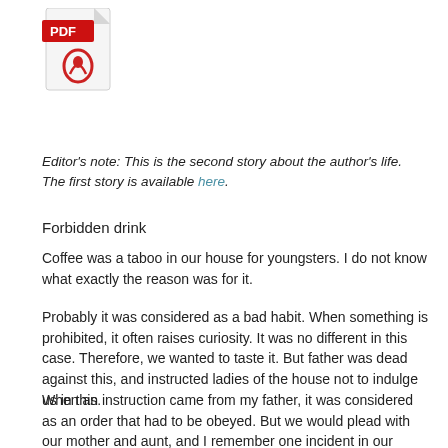[Figure (illustration): PDF file icon with red Adobe PDF logo and document graphic]
Editor's note: This is the second story about the author's life. The first story is available here.
Forbidden drink
Coffee was a taboo in our house for youngsters. I do not know what exactly the reason was for it.
Probably it was considered as a bad habit. When something is prohibited, it often raises curiosity. It was no different in this case. Therefore, we wanted to taste it. But father was dead against this, and instructed ladies of the house not to indulge us in this.
When an instruction came from my father, it was considered as an order that had to be obeyed. But we would plead with our mother and aunt, and I remember one incident in our house in Mysore. (This house was located on Weavers lane in Krishnamurthy Puram. The